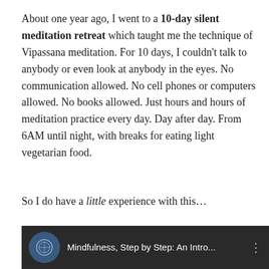About one year ago, I went to a 10-day silent meditation retreat which taught me the technique of Vipassana meditation. For 10 days, I couldn't talk to anybody or even look at anybody in the eyes. No communication allowed. No cell phones or computers allowed. No books allowed. Just hours and hours of meditation practice every day. Day after day. From 6AM until night, with breaks for eating light vegetarian food.
So I do have a little experience with this...
Watch these 2 videos –
Mindfulness, Step by Step: An Introduction to Vipassana Meditation by Achan Sobin Namto
[Figure (screenshot): Video thumbnail for 'Mindfulness, Step by Step: An Introduction to Vipassana Meditation' showing a dark background with a circular logo icon on the left and the video title text in white.]